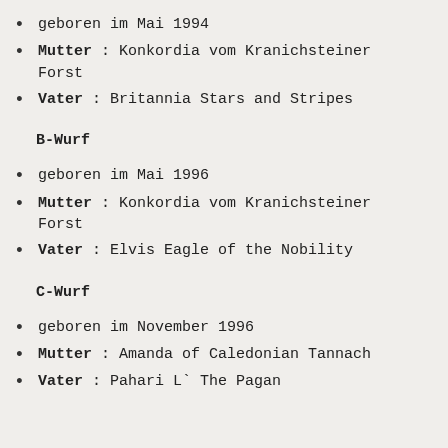geboren im Mai 1994
Mutter : Konkordia vom Kranichsteiner Forst
Vater : Britannia Stars and Stripes
B-Wurf
geboren im Mai 1996
Mutter : Konkordia vom Kranichsteiner Forst
Vater : Elvis Eagle of the Nobility
C-Wurf
geboren im November 1996
Mutter : Amanda of Caledonian Tannach
Vater : Pahari L` The Pagan